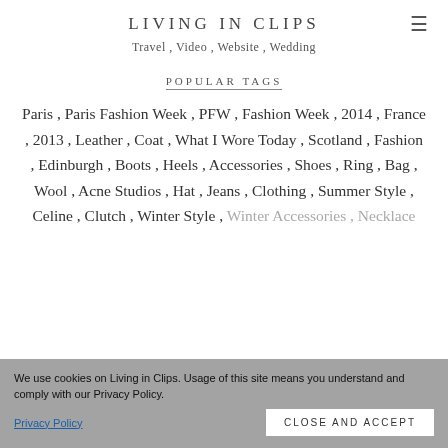LIVING IN CLIPS
Travel , Video , Website , Wedding
POPULAR TAGS
Paris , Paris Fashion Week , PFW , Fashion Week , 2014 , France , 2013 , Leather , Coat , What I Wore Today , Scotland , Fashion , Edinburgh , Boots , Heels , Accessories , Shoes , Ring , Bag , Wool , Acne Studios , Hat , Jeans , Clothing , Summer Style , Celine , Clutch , Winter Style , Winter Accessories , Necklace
We use cookies on Living in Clips. Usage of this site means you understand and comply with our Privacy Policy.
Privacy Policy
CLOSE AND ACCEPT